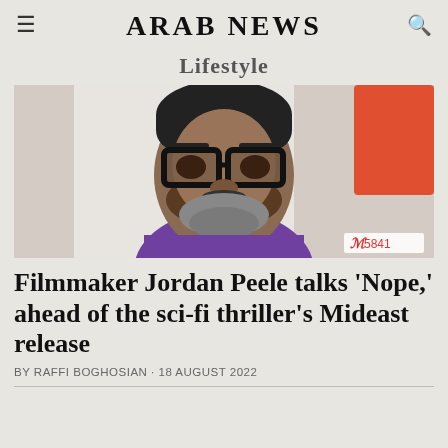ARAB NEWS
Lifestyle
[Figure (photo): Portrait photo of filmmaker Jordan Peele wearing black-framed glasses and a purple shirt, with a red background element visible.]
Filmmaker Jordan Peele talks 'Nope,' ahead of the sci-fi thriller's Mideast release
BY RAFFI BOGHOSIAN · 18 August 2022